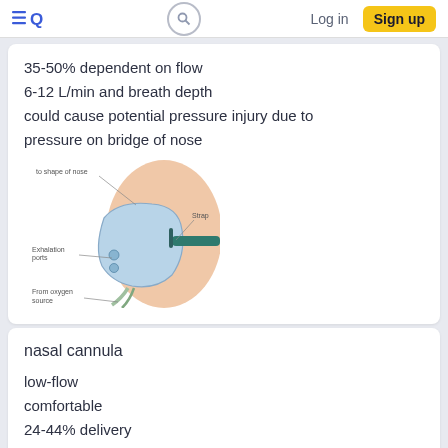Log in | Sign up
35-50% dependent on flow
6-12 L/min and breath depth
could cause potential pressure injury due to pressure on bridge of nose
[Figure (illustration): Side profile illustration of a person wearing a simple face mask/partial rebreather oxygen mask, with labels pointing to: 'to shape of nose', 'Exhalation ports', 'Strap', 'From oxygen source']
nasal cannula
low-flow
comfortable
24-44% delivery
1-6L/min